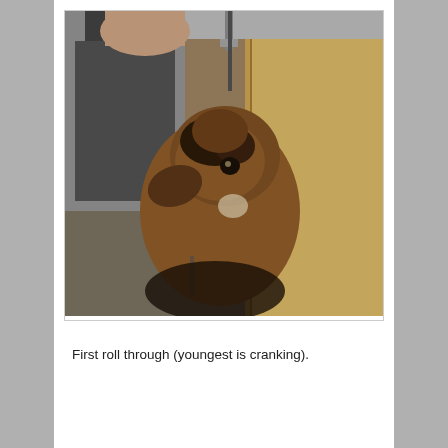[Figure (photo): A dog (appears to be a beagle or hound mix) looking upward inside a wooden cabinet near a sink, with a person's hand visible at the top. The dog's head is tilted back and its face is looking up toward the camera. Wood cabinet panels are visible on the right side.]
First roll through (youngest is cranking).